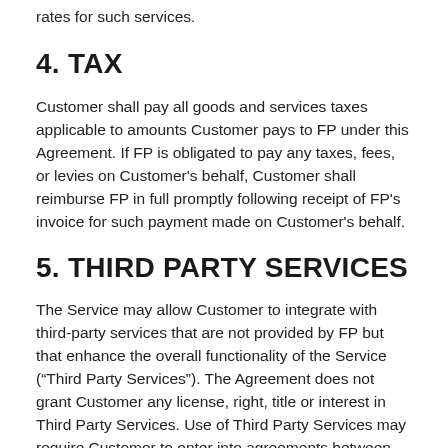rates for such services.
4. TAX
Customer shall pay all goods and services taxes applicable to amounts Customer pays to FP under this Agreement. If FP is obligated to pay any taxes, fees, or levies on Customer's behalf, Customer shall reimburse FP in full promptly following receipt of FP's invoice for such payment made on Customer's behalf.
5. THIRD PARTY SERVICES
The Service may allow Customer to integrate with third-party services that are not provided by FP but that enhance the overall functionality of the Service (“Third Party Services”). The Agreement does not grant Customer any license, right, title or interest in Third Party Services. Use of Third Party Services may require Customer to enter into agreements between